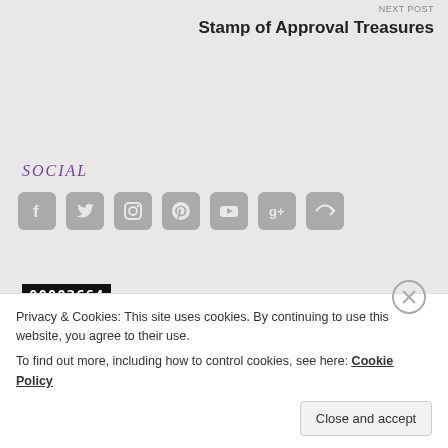NEXT POST
Stamp of Approval Treasures
SOCIAL
[Figure (infographic): Row of social media icons: Facebook, Twitter, Instagram, Pinterest, YouTube, Google+, Share]
00002664
Advertisements
Privacy & Cookies: This site uses cookies. By continuing to use this website, you agree to their use.
To find out more, including how to control cookies, see here: Cookie Policy
Close and accept